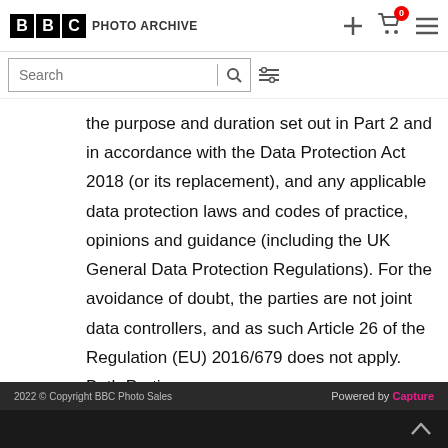[Figure (logo): BBC Photo Archive logo with navigation icons (plus, cart with badge 0, hamburger menu)]
[Figure (screenshot): Search bar with search icon and filter icon]
the purpose and duration set out in Part 2 and in accordance with the Data Protection Act 2018 (or its replacement), and any applicable data protection laws and codes of practice, opinions and guidance (including the UK General Data Protection Regulations). For the avoidance of doubt, the parties are not joint data controllers, and as such Article 26 of the Regulation (EU) 2016/679 does not apply. Both Parties
2022 © Copyright BBC Photo Sales   Powered by Capture